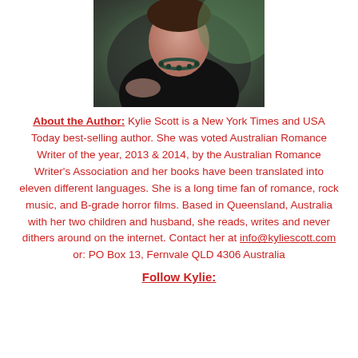[Figure (photo): Author photo of Kylie Scott, a woman wearing a black top and dark beaded necklace, with green blurred background]
About the Author: Kylie Scott is a New York Times and USA Today best-selling author. She was voted Australian Romance Writer of the year, 2013 & 2014, by the Australian Romance Writer's Association and her books have been translated into eleven different languages. She is a long time fan of romance, rock music, and B-grade horror films. Based in Queensland, Australia with her two children and husband, she reads, writes and never dithers around on the internet. Contact her at info@kyliescott.com or: PO Box 13, Fernvale QLD 4306 Australia
Follow Kylie: